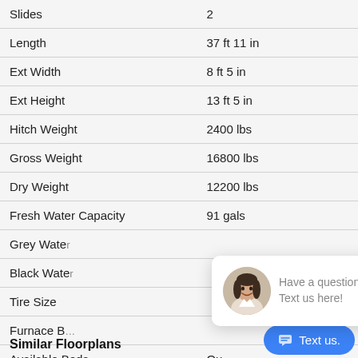| Specification | Value |
| --- | --- |
| Slides | 2 |
| Length | 37 ft 11 in |
| Ext Width | 8 ft 5 in |
| Ext Height | 13 ft 5 in |
| Hitch Weight | 2400 lbs |
| Gross Weight | 16800 lbs |
| Dry Weight | 12200 lbs |
| Fresh Water Capacity | 91 gals |
| Grey Water |  |
| Black Water |  |
| Tire Size |  |
| Furnace B |  |
| Available Beds | Qu… |
Similar Floorplans
[Figure (other): Chat popup with female agent avatar and text 'Have a question? Text us here!' with a close button]